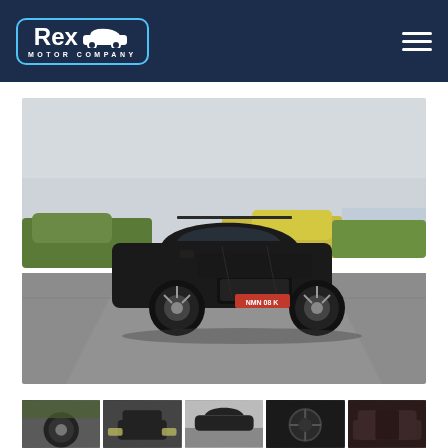Rex Motor Company
[Figure (photo): Black Porsche Macan SUV driving on a road with green vegetation and overcast sky in the background. License plate reads NMN-08-K.]
[Figure (photo): Thumbnail strip showing 5 smaller photos of the same Porsche Macan from different angles including wheel, front, and interior views.]